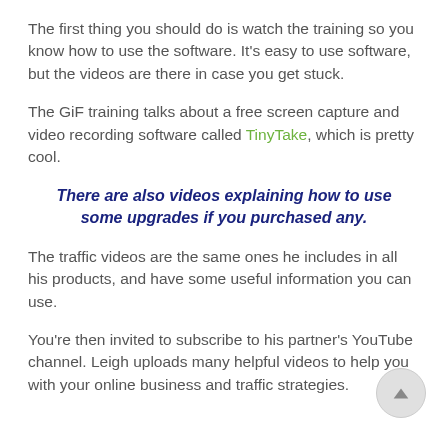The first thing you should do is watch the training so you know how to use the software. It's easy to use software, but the videos are there in case you get stuck.
The GiF training talks about a free screen capture and video recording software called TinyTake, which is pretty cool.
There are also videos explaining how to use some upgrades if you purchased any.
The traffic videos are the same ones he includes in all his products, and have some useful information you can use.
You’re then invited to subscribe to his partner’s YouTube channel. Leigh uploads many helpful videos to help you with your online business and traffic strategies.